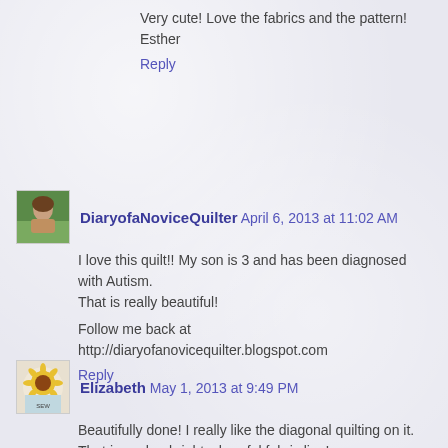Very cute! Love the fabrics and the pattern!
Esther
Reply
DiaryofaNoviceQuilter April 6, 2013 at 11:02 AM
I love this quilt!! My son is 3 and has been diagnosed with Autism.
That is really beautiful!

Follow me back at
http://diaryofanovicequilter.blogspot.com
Reply
Elizabeth May 1, 2013 at 9:49 PM
Beautifully done! I really like the diagonal quilting on it. That is such a bright, cheerful fabric line!

Thanks for linking up!